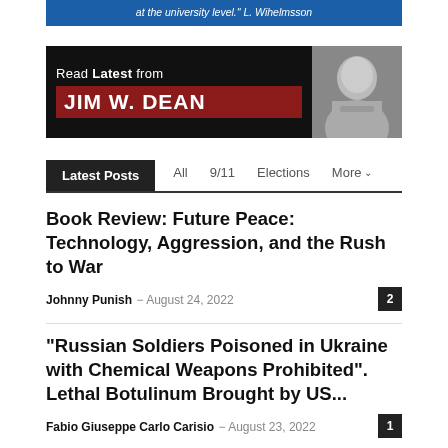[Figure (illustration): Blue banner with italic white text: 'at the university level.' L. Wihelmsson]
[Figure (illustration): Read Latest from Jim W. Dean banner with photo of older man on right, black background with red name box]
Latest Posts
All   9/11   Elections   More
Book Review: Future Peace: Technology, Aggression, and the Rush to War
Johnny Punish  −  August 24, 2022   2
“Russian Soldiers Poisoned in Ukraine with Chemical Weapons Prohibited”. Lethal Botulinum Brought by US...
Fabio Giuseppe Carlo Carisio  −  August 23, 2022   1